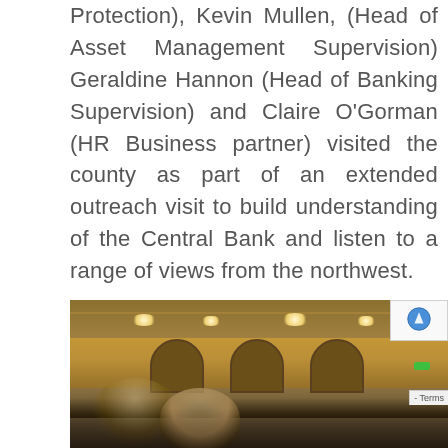Protection), Kevin Mullen, (Head of Asset Management Supervision) Geraldine Hannon (Head of Banking Supervision) and Claire O'Gorman (HR Business partner) visited the county as part of an extended outreach visit to build understanding of the Central Bank and listen to a range of views from the northwest.
[Figure (photo): Interior of a banquet hall with warm lighting, ceiling lights, arched windows/columns at the back, and people visible in the foreground.]